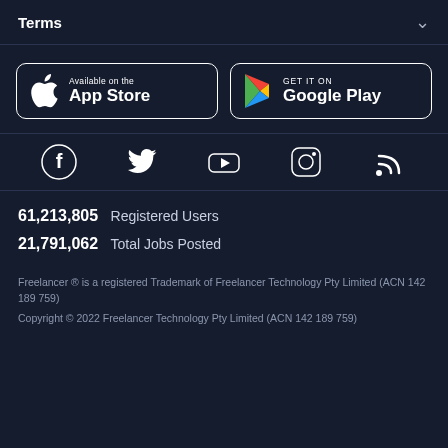Terms
[Figure (logo): Apple App Store badge: 'Available on the App Store' with Apple logo]
[Figure (logo): Google Play badge: 'GET IT ON Google Play' with Google Play triangle logo]
[Figure (other): Social media icons row: Facebook, Twitter, YouTube, Instagram, RSS]
61,213,805  Registered Users
21,791,062  Total Jobs Posted
Freelancer ® is a registered Trademark of Freelancer Technology Pty Limited (ACN 142 189 759)
Copyright © 2022 Freelancer Technology Pty Limited (ACN 142 189 759)